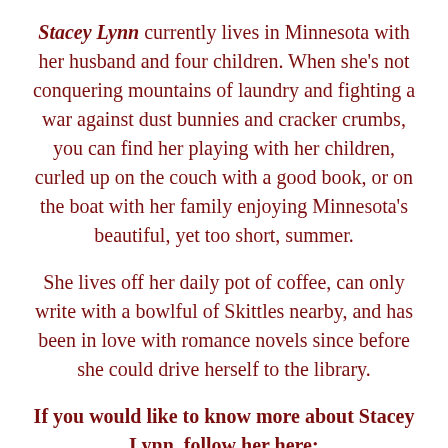Stacey Lynn currently lives in Minnesota with her husband and four children. When she's not conquering mountains of laundry and fighting a war against dust bunnies and cracker crumbs, you can find her playing with her children, curled up on the couch with a good book, or on the boat with her family enjoying Minnesota's beautiful, yet too short, summer.
She lives off her daily pot of coffee, can only write with a bowlful of Skittles nearby, and has been in love with romance novels since before she could drive herself to the library.
If you would like to know more about Stacey Lynn, follow her here:
Facebook:
Twitter